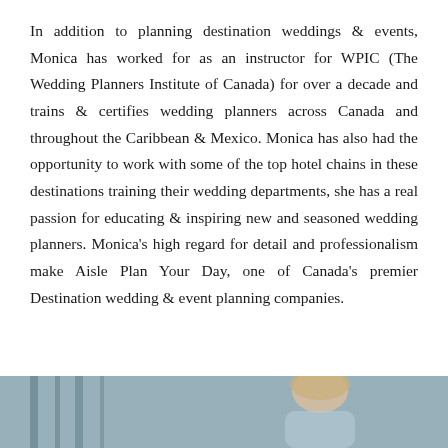In addition to planning destination weddings & events, Monica has worked for as an instructor for WPIC (The Wedding Planners Institute of Canada) for over a decade and trains & certifies wedding planners across Canada and throughout the Caribbean & Mexico. Monica has also had the opportunity to work with some of the top hotel chains in these destinations training their wedding departments, she has a real passion for educating & inspiring new and seasoned wedding planners. Monica's high regard for detail and professionalism make Aisle Plan Your Day, one of Canada's premier Destination wedding & event planning companies.
[Figure (photo): Bottom strip showing a partial photograph of a person, likely a woman with light hair, against a muted blue-grey background.]